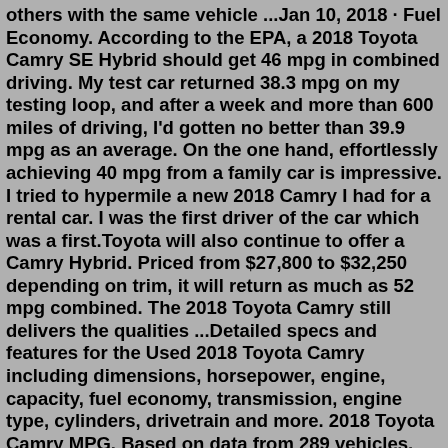others with the same vehicle ...Jan 10, 2018 · Fuel Economy. According to the EPA, a 2018 Toyota Camry SE Hybrid should get 46 mpg in combined driving. My test car returned 38.3 mpg on my testing loop, and after a week and more than 600 miles of driving, I'd gotten no better than 39.9 mpg as an average. On the one hand, effortlessly achieving 40 mpg from a family car is impressive. I tried to hypermile a new 2018 Camry I had for a rental car. I was the first driver of the car which was a first.Toyota will also continue to offer a Camry Hybrid. Priced from $27,800 to $32,250 depending on trim, it will return as much as 52 mpg combined. The 2018 Toyota Camry still delivers the qualities ...Detailed specs and features for the Used 2018 Toyota Camry including dimensions, horsepower, engine, capacity, fuel economy, transmission, engine type, cylinders, drivetrain and more. 2018 Toyota Camry MPG. Based on data from 289 vehicles, 19,637 fuel-ups and 7,496,076 miles of driving, the 2018 Toyota Camry gets a combined Avg MPG of 32.55 with a 0.15 MPG